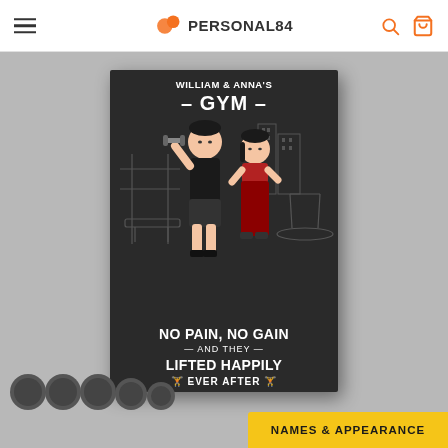Personal84 - logo, search icon, cart icon
[Figure (photo): E-commerce product page showing a personalized gym canvas print wall art. The poster reads 'WILLIAM & ANNA'S GYM - NO PAIN, NO GAIN - AND THEY LIFTED HAPPILY EVER AFTER' with cartoon couple characters lifting weights on a dark chalkboard-style background. The product is displayed hanging on a gym wall with dumbbells visible at the bottom. A yellow 'NAMES & APPEARANCE' banner is shown at the bottom right.]